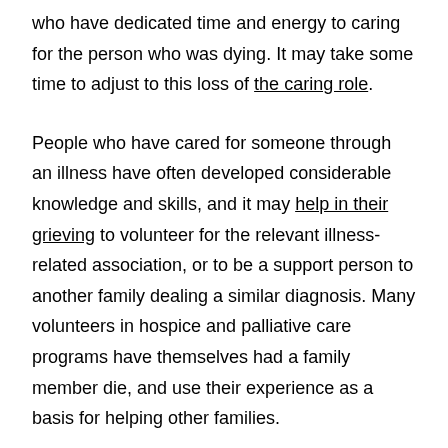who have dedicated time and energy to caring for the person who was dying. It may take some time to adjust to this loss of the caring role.
People who have cared for someone through an illness have often developed considerable knowledge and skills, and it may help in their grieving to volunteer for the relevant illness-related association, or to be a support person to another family dealing a similar diagnosis. Many volunteers in hospice and palliative care programs have themselves had a family member die, and use their experience as a basis for helping other families.
Other Resources